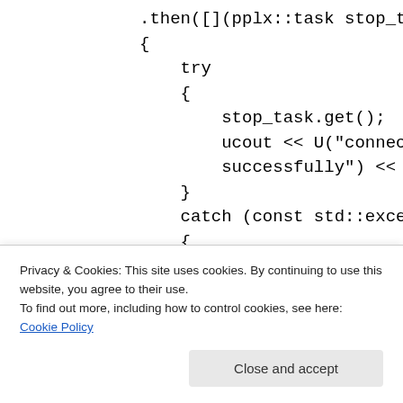.then([](pplx::task stop_task)
{
    try
    {
        stop_task.get();
        ucout << U("connection stopped
        successfully") << std::endl;
    }
    catch (const std::exception &e)
    {
        ucout << U("exception when starting
Privacy & Cookies: This site uses cookies. By continuing to use this website, you agree to their use.
To find out more, including how to control cookies, see here: Cookie Policy
Close and accept